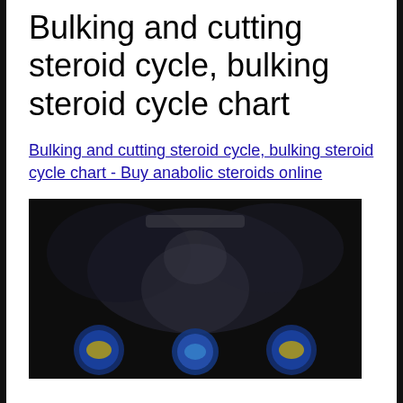Bulking and cutting steroid cycle, bulking steroid cycle chart
Bulking and cutting steroid cycle, bulking steroid cycle chart - Buy anabolic steroids online
[Figure (photo): A dark/blurred image showing what appears to be product packaging or bodybuilding-related content with colorful circular elements at the bottom.]